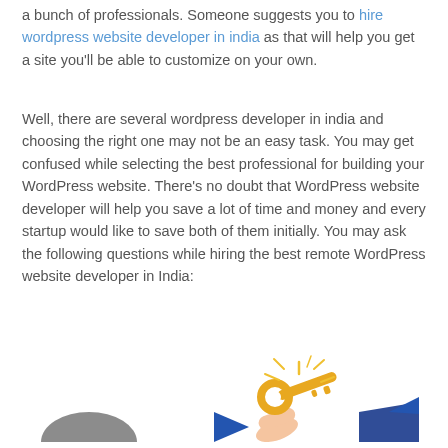a bunch of professionals. Someone suggests you to hire wordpress website developer in india as that will help you get a site you'll be able to customize on your own.
Well, there are several wordpress developer in india and choosing the right one may not be an easy task. You may get confused while selecting the best professional for building your WordPress website. There's no doubt that WordPress website developer will help you save a lot of time and money and every startup would like to save both of them initially. You may ask the following questions while hiring the best remote WordPress website developer in India:
[Figure (illustration): Illustration showing a hand holding a golden key with sparkle/light rays, a dark circular shape on the left, a blue arrow pointing right on the far right — partially cropped at bottom of page.]